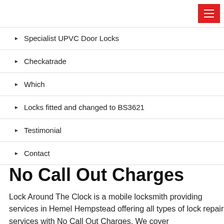Specialist UPVC Door Locks
Checkatrade
Which
Locks fitted and changed to BS3621
Testimonial
Contact
No Call Out Charges
Lock Around The Clock is a mobile locksmith providing services in Hemel Hempstead offering all types of lock repair services with No Call Out Charges. We cover